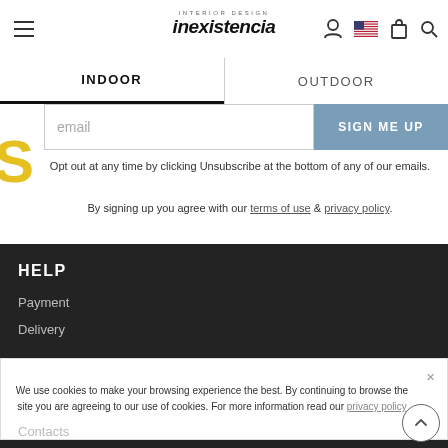inexistencia — INDOOR | OUTDOOR navigation header
email
SIGN ME UP
Opt out at any time by clicking Unsubscribe at the bottom of any of our emails.
By signing up you agree with our terms of use & privacy policy.
HELP
Payment
Delivery
We use cookies to make your browsing experience the best. By continuing to browse the site you are agreeing to our use of cookies. For more information read our privacy policy
Contacts